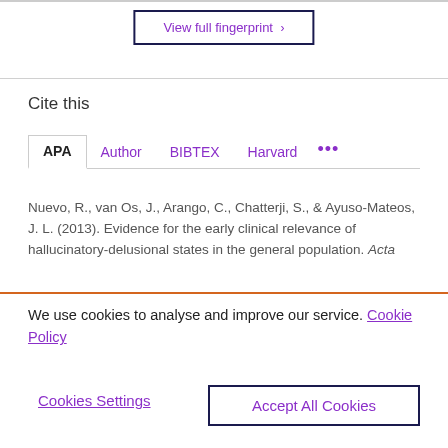View full fingerprint ›
Cite this
APA  Author  BIBTEX  Harvard  •••
Nuevo, R., van Os, J., Arango, C., Chatterji, S., & Ayuso-Mateos, J. L. (2013). Evidence for the early clinical relevance of hallucinatory-delusional states in the general population. Acta
We use cookies to analyse and improve our service. Cookie Policy
Cookies Settings
Accept All Cookies